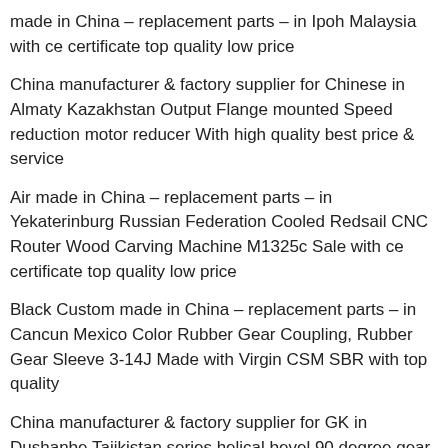made in China – replacement parts – in Ipoh Malaysia with ce certificate top quality low price
China manufacturer & factory supplier for Chinese in Almaty Kazakhstan Output Flange mounted Speed reduction motor reducer With high quality best price & service
Air made in China – replacement parts – in Yekaterinburg Russian Federation Cooled Redsail CNC Router Wood Carving Machine M1325c Sale with ce certificate top quality low price
Black Custom made in China – replacement parts – in Cancun Mexico Color Rubber Gear Coupling, Rubber Gear Sleeve 3-14J Made with Virgin CSM SBR with top quality
China manufacturer & factory supplier for GK in Dushanbe Tajikistan series helical bevel 90 degree gear motor With high quality best price & service
Steel made in China – replacement parts – in Almaty...